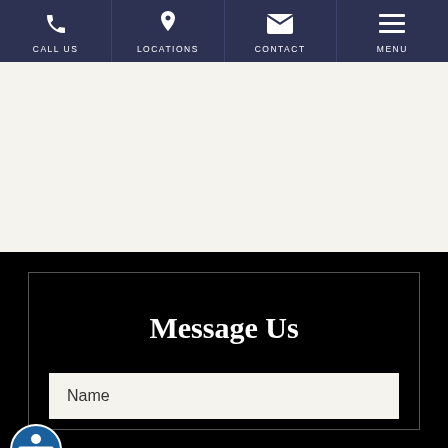CALL US | LOCATIONS | CONTACT | MENU
Message Us
Name